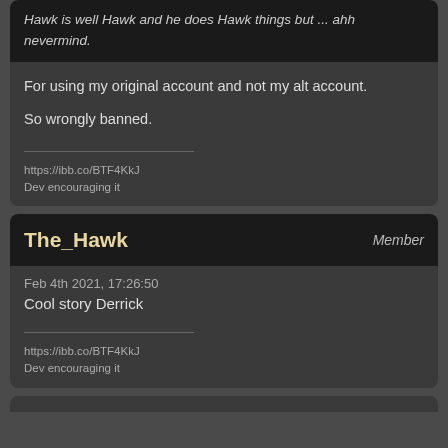Hawk is well Hawk and he does Hawk things but ... ahh nevermind.
For using my original account and not my alt account.

So wrongly banned.
https://ibb.co/BTF4KkJ
Dev encouraging it
The_Hawk
Member
Feb 4th 2021, 17:26:50
Cool story Derrick
https://ibb.co/BTF4KkJ
Dev encouraging it